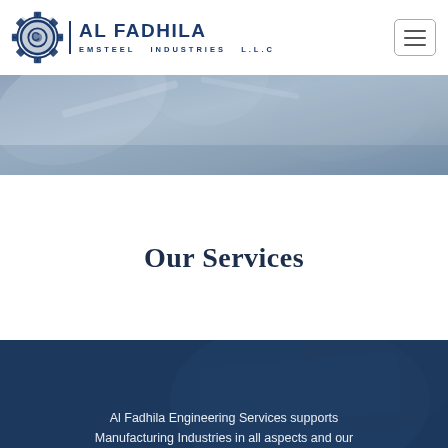[Figure (logo): Al Fadhila Emsteel Industries L.L.C logo with gear icon and company name]
[Figure (photo): Dark blue-grey industrial/engineering hero banner image showing metallic surfaces]
Our Services
Al Fadhila Engineering Services supports Manufacturing Industries in all aspects and our